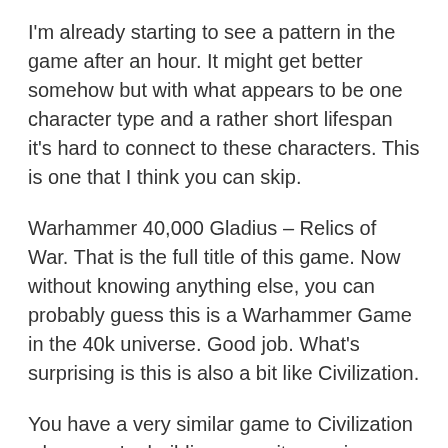I'm already starting to see a pattern in the game after an hour. It might get better somehow but with what appears to be one character type and a rather short lifespan it's hard to connect to these characters. This is one that I think you can skip.
Warhammer 40,000 Gladius – Relics of War. That is the full title of this game. Now without knowing anything else, you can probably guess this is a Warhammer Game in the 40k universe. Good job. What's surprising is this is also a bit like Civilization.
You have a very similar game to Civilization where you're building up a city, moving units, fighting enemies, and conquering the map. It's got the theme of Warhammer which both versions of Warhammer (Fantasy and 40k) are amazing. They have very